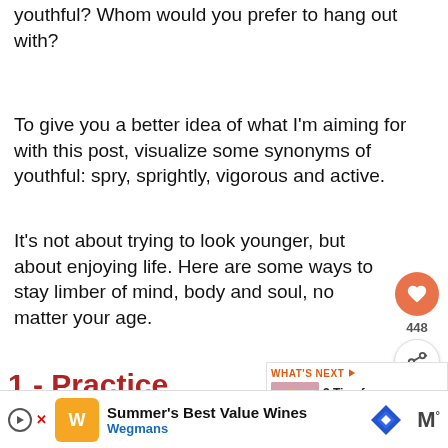youthful? Whom would you prefer to hang out with?
To give you a better idea of what I'm aiming for with this post, visualize some synonyms of youthful: spry, sprightly, vigorous and active.
It's not about trying to look younger, but about enjoying life. Here are some ways to stay limber of mind, body and soul, no matter your age.
1.- Practice good posture
Nothing is more ageing than slouching. Bad
[Figure (infographic): Social sharing sidebar with heart icon showing 448 likes and a share button]
[Figure (infographic): What's Next widget showing '3 Tips for retirement...' with a thumbnail photo of two people]
[Figure (infographic): Advertisement banner for Wegmans 'Summer's Best Value Wines' with logo and navigation icon]